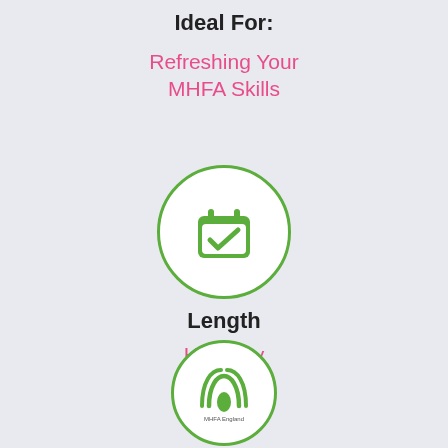Ideal For:
Refreshing Your MHFA Skills
[Figure (illustration): Green circle icon with a calendar and checkmark symbol]
Length
Half Day
[Figure (logo): Green circle icon with MHFA England logo (two overlapping arches with a leaf/teardrop shape underneath)]